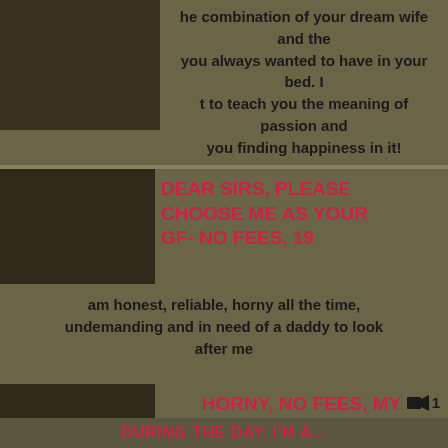he combination of your dream wife and the you always wanted to have in your bed. I t to teach you the meaning of passion and you finding happiness in it!
DEAR SIRS, PLEASE CHOOSE ME AS YOUR GF- NO FEES, 19
am honest, reliable, horny all the time, undemanding and in need of a daddy to look after me
HORNY, NO FEES, MY PLACE, NSA - I'M DEBBIE, 27
o Guys, I'm a 27 year old single woman just looking to find some uncomplicated adult fun with local guys. I'm Debbie, I prefer guy me at my place for my safety and yours